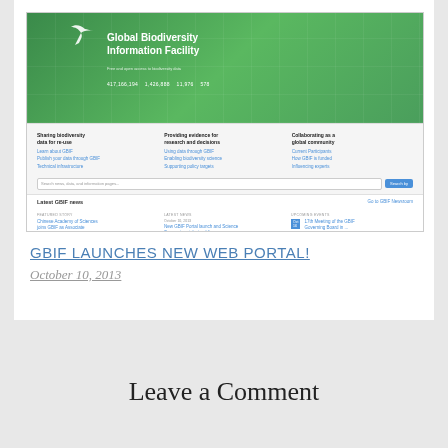[Figure (screenshot): Screenshot of the GBIF (Global Biodiversity Information Facility) website showing the homepage with a green world map header, statistics, three-column navigation panel, search bar, and latest news section.]
GBIF LAUNCHES NEW WEB PORTAL!
October 10, 2013
Leave a Comment